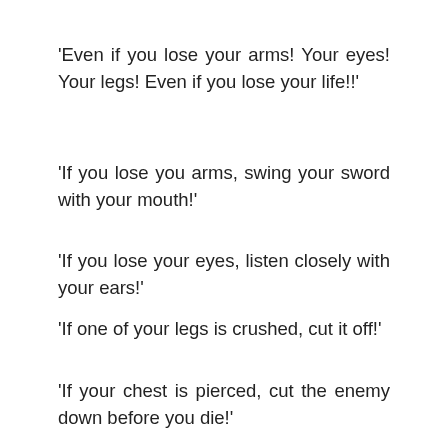'Even if you lose your arms! Your eyes! Your legs! Even if you lose your life!!'
'If you lose you arms, swing your sword with your mouth!'
'If you lose your eyes, listen closely with your ears!'
'If one of your legs is crushed, cut it off!'
'If your chest is pierced, cut the enemy down before you die!'
Like that the sword god slowly took Gi Go's consciousness away and made him swing his sword.
Cut, cut, cut cut cut CuT CuT CuT CUT CUT CUT Cut